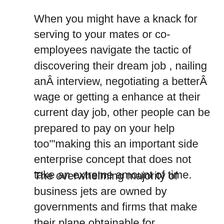When you might have a knack for serving to your mates or co-employees navigate the tactic of discovering their dream job , nailing anÂ interview, negotiating a betterÂ wage or getting a enhance at their current day job, other people can be prepared to pay on your help too'"making this an important side enterprise concept that does not take an extreme amount of time.
The overwhelming majority of business jets are owned by governments and firms that make their plane obtainable for transporting authorities officials, enterprise leaders, and sales and advertising groups, or to shuttle engineers and venture managers off-web site.
Overhead could embrace gear, marketing prices, and wages for personnel, however in every other case